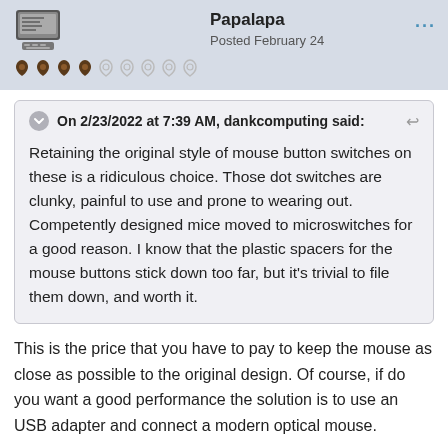Papalapa
Posted February 24
On 2/23/2022 at 7:39 AM, dankcomputing said:
Retaining the original style of mouse button switches on these is a ridiculous choice. Those dot switches are clunky, painful to use and prone to wearing out. Competently designed mice moved to microswitches for a good reason. I know that the plastic spacers for the mouse buttons stick down too far, but it's trivial to file them down, and worth it.
This is the price that you have to pay to keep the mouse as close as possible to the original design. Of course, if do you want a good performance the solution is to use an USB adapter and connect a modern optical mouse.